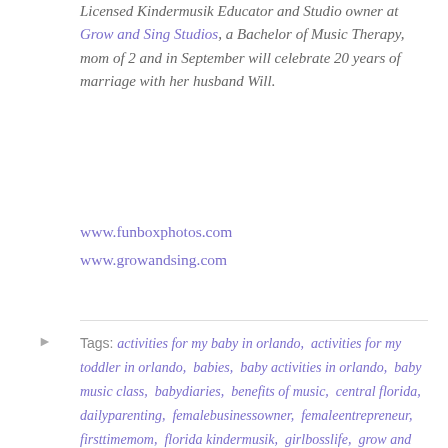Licensed Kindermusik Educator and Studio owner at Grow and Sing Studios, a Bachelor of Music Therapy, mom of 2 and in September will celebrate 20 years of marriage with her husband Will.
www.funboxphotos.com
www.growandsing.com
Tags: activities for my baby in orlando, activities for my toddler in orlando, babies, baby activities in orlando, baby music class, babydiaries, benefits of music, central florida, dailyparenting, femalebusinessowner, femaleentrepreneur, firsttimemom, florida kindermusik, girlbosslife, grow and sing studios, health benefits of music, honestmotherhood, kindermusik, kindermusik orlando, mamabear, mamaknowsbest, mamalife, mamalovesyou, mamasbaby, mamastyle, mamasworld, mblogger, milennialmom, modernmom, modernmotherhood, mom, momadvice, mombiz, momboss, momduties, momfashion, momlife, mommy, Mommy and Me, mommyandme,